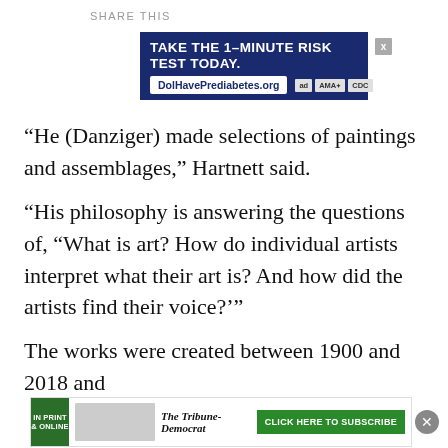SHARE THIS
[Figure (screenshot): Advertisement banner: 'TAKE THE 1-MINUTE RISK TEST TODAY.' with DolHavePrediabetes.org, ad, AMA, CDC logos, on dark blue background. Close X button top right.]
“He (Danziger) made selections of paintings and assemblages,” Hartnett said.
“His philosophy is answering the questions of, “What is art? How do individual artists interpret what their art is? And how did the artists find their voice?’”
The works were created between 1900 and 2018 and
[Figure (screenshot): Advertisement banner for The Tribune-Democrat newspaper: green 'IN PRINT & ONLINE' badge on left, newspaper images in center, Tribune-Democrat logo, green 'CLICK HERE TO SUBSCRIBE' button. Close circle button on right.]